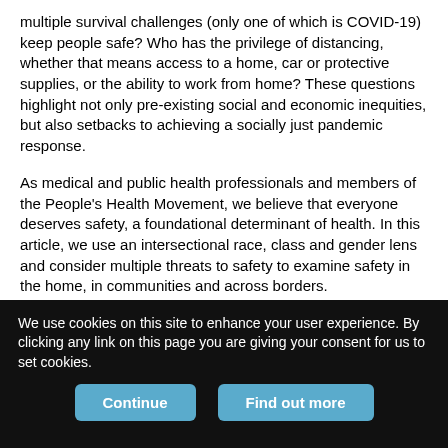multiple survival challenges (only one of which is COVID-19) keep people safe? Who has the privilege of distancing, whether that means access to a home, car or protective supplies, or the ability to work from home? These questions highlight not only pre-existing social and economic inequities, but also setbacks to achieving a socially just pandemic response.
As medical and public health professionals and members of the People's Health Movement, we believe that everyone deserves safety, a foundational determinant of health. In this article, we use an intersectional race, class and gender lens and consider multiple threats to safety to examine safety in the home, in communities and across borders.
We use cookies on this site to enhance your user experience. By clicking any link on this page you are giving your consent for us to set cookies.